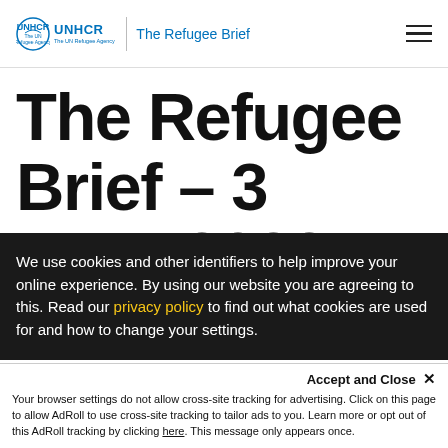UNHCR | The Refugee Brief
The Refugee Brief – 3 June 2022
We use cookies and other identifiers to help improve your online experience. By using our website you are agreeing to this. Read our privacy policy to find out what cookies are used for and how to change your settings.
Your browser settings do not allow cross-site tracking for advertising. Click on this page to allow AdRoll to use cross-site tracking to tailor ads to you. Learn more or opt out of this AdRoll tracking by clicking here. This message only appears once.